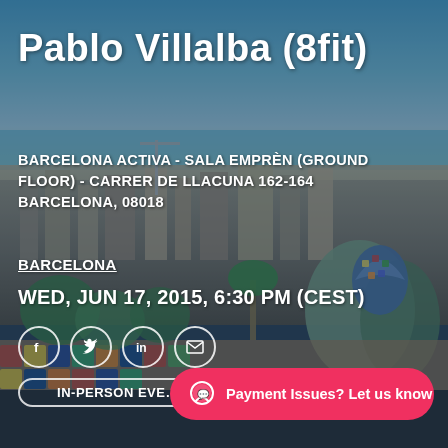[Figure (photo): Aerial panoramic photo of Barcelona cityscape with blue sky and sea in the background, with Gaudi mosaic architecture visible in the foreground right]
Pablo Villalba (8fit)
BARCELONA ACTIVA - SALA EMPRÈN (GROUND FLOOR) - CARRER DE LLACUNA 162-164 BARCELONA, 08018
BARCELONA
WED, JUN 17, 2015, 6:30 PM (CEST)
Social icons: Facebook, Twitter, LinkedIn, Email
IN-PERSON EVE…
Payment Issues? Let us know